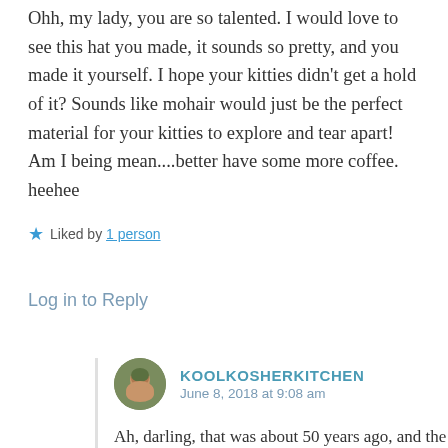Ohh, my lady, you are so talented. I would love to see this hat you made, it sounds so pretty, and you made it yourself. I hope your kitties didn't get a hold of it? Sounds like mohair would just be the perfect material for your kitties to explore and tear apart! Am I being mean....better have some more coffee. heehee
★ Liked by 1 person
Log in to Reply
[Figure (photo): Circular avatar photo of a person with dark hair, appears to be a woman, against a green/natural background]
KOOLKOSHERKITCHEN
June 8, 2018 at 9:08 am
Ah, darling, that was about 50 years ago, and the hat got ruined – drenched in my blood! – when it saved my life in a car